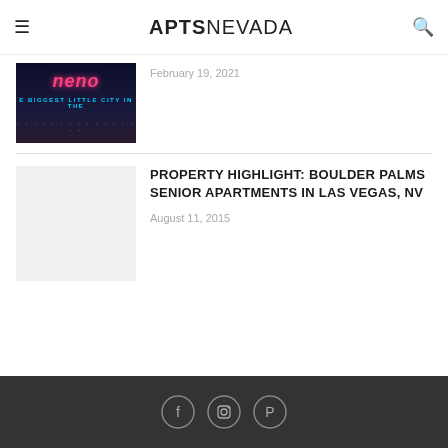APTSNEVADA
[Figure (photo): Night photo of the Reno sign reading 'Reno - The Biggest Little City in the World' with neon lights]
February 19, 2021
PROPERTY HIGHLIGHT: BOULDER PALMS SENIOR APARTMENTS IN LAS VEGAS, NV
August 11, 2015
[Figure (photo): Placeholder image for Boulder Palms Senior Apartments article]
Social media icons: Facebook, Instagram, Pinterest